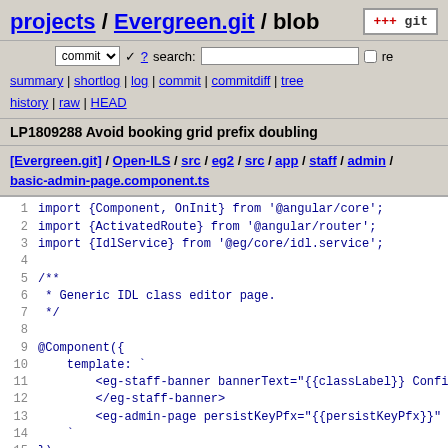projects / Evergreen.git / blob
commit ? search: re
summary | shortlog | log | commit | commitdiff | tree history | raw | HEAD
LP1809288 Avoid booking grid prefix doubling
[Evergreen.git] / Open-ILS / src / eg2 / src / app / staff / admin / basic-admin-page.component.ts
1  import {Component, OnInit} from '@angular/core';
2  import {ActivatedRoute} from '@angular/router';
3  import {IdlService} from '@eg/core/idl.service';
4
5  /**
6   * Generic IDL class editor page.
7   */
8
9  @Component({
10     template: `
11         <eg-staff-banner bannerText="{{classLabel}} Confi
12         </eg-staff-banner>
13         <eg-admin-page persistKeyPfx="{{persistKeyPfx}}"
14     `
15  })
16
17  export class BasicAdminPageComponent implements OnInit
18